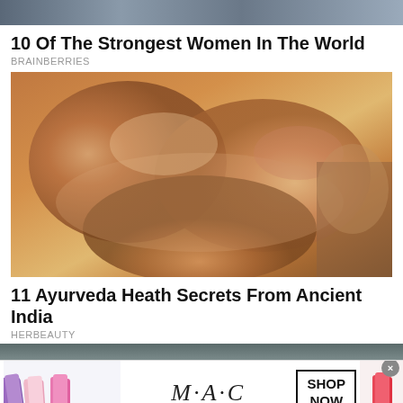[Figure (photo): Top strip of a photo, partially visible]
10 Of The Strongest Women In The World
BRAINBERRIES
[Figure (photo): Close-up photo of hands massaging a foot with oil]
11 Ayurveda Heath Secrets From Ancient India
HERBEAUTY
[Figure (photo): Partially visible photo strip at bottom]
[Figure (advertisement): MAC cosmetics advertisement showing lipsticks, MAC logo, and SHOP NOW button]